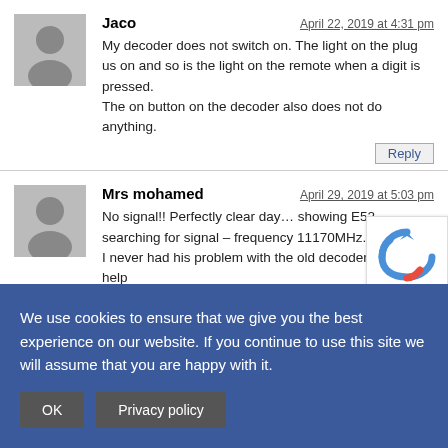Jaco — April 22, 2019 at 4:31 pm
My decoder does not switch on. The light on the plug us on and so is the light on the remote when a digit is pressed.
The on button on the decoder also does not do anything.
Reply
Mrs mohamed — April 29, 2019 at 5:03 pm
No signal!! Perfectly clear day… showing E52 searching for signal – frequency 11170MHz.
I never had his problem with the old decoder. Please help
We use cookies to ensure that we give you the best experience on our website. If you continue to use this site we will assume that you are happy with it.
OK
Privacy policy